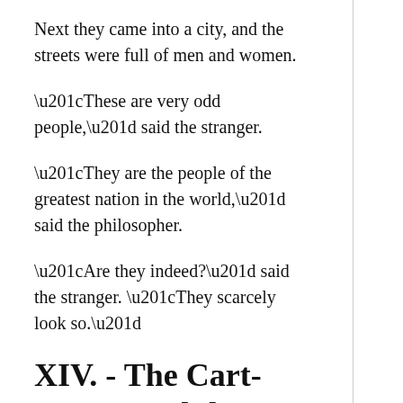Next they came into a city, and the streets were full of men and women.
“These are very odd people,” said the stranger.
“They are the people of the greatest nation in the world,” said the philosopher.
“Are they indeed?” said the stranger. “They scarcely look so.”
XIV. - The Cart-Horses and the Saddle-Horse.
Two cart-horses, a gelding and